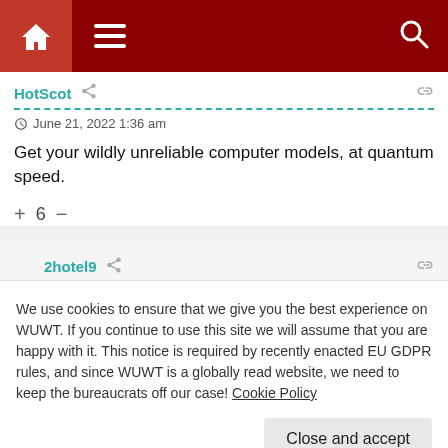Navigation bar with home, menu, and search icons
HotScot
June 21, 2022 1:36 am
Get your wildly unreliable computer models, at quantum speed.
+ 6 –
2hotel9
June 21, 2022 3:21 am
We use cookies to ensure that we give you the best experience on WUWT. If you continue to use this site we will assume that you are happy with it. This notice is required by recently enacted EU GDPR rules, and since WUWT is a globally read website, we need to keep the bureaucrats off our case! Cookie Policy
Close and accept